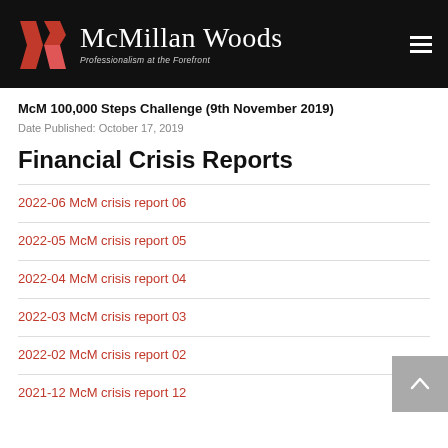Mc Millan Woods — Professionalism at the Forefront
McM 100,000 Steps Challenge (9th November 2019)
Date Published: October 17, 2019
Financial Crisis Reports
2022-06 McM crisis report 06
2022-05 McM crisis report 05
2022-04 McM crisis report 04
2022-03 McM crisis report 03
2022-02 McM crisis report 02
2021-12 McM crisis report 12